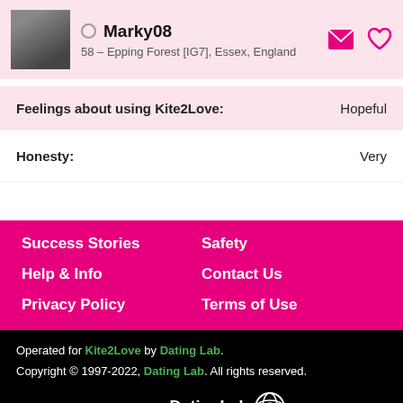Marky08 – 58 – Epping Forest [IG7], Essex, England
Feelings about using Kite2Love: Hopeful
Honesty: Very
Success Stories
Safety
Help & Info
Contact Us
Privacy Policy
Terms of Use
Operated for Kite2Love by Dating Lab. Copyright © 1997-2022, Dating Lab. All rights reserved. Powered by DatingLab